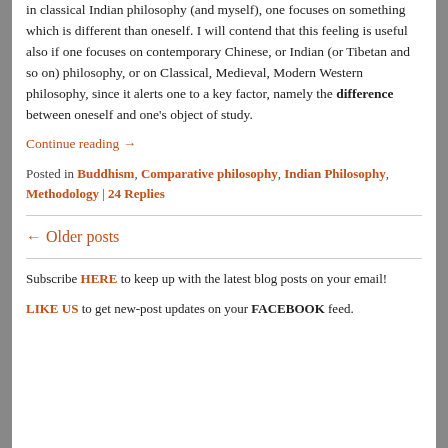in classical Indian philosophy (and myself), one focuses on something which is different than oneself. I will contend that this feeling is useful also if one focuses on contemporary Chinese, or Indian (or Tibetan and so on) philosophy, or on Classical, Medieval, Modern Western philosophy, since it alerts one to a key factor, namely the difference between oneself and one's object of study.
Continue reading →
Posted in Buddhism, Comparative philosophy, Indian Philosophy, Methodology | 24 Replies
← Older posts
Subscribe HERE to keep up with the latest blog posts on your email!
LIKE US to get new-post updates on your FACEBOOK feed.